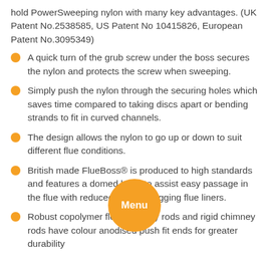hold PowerSweeping nylon with many key advantages. (UK Patent No.2538585, US Patent No 10415826, European Patent No.3095349)
A quick turn of the grub screw under the boss secures the nylon and protects the screw when sweeping.
Simply push the nylon through the securing holes which saves time compared to taking discs apart or bending strands to fit in curved channels.
The design allows the nylon to go up or down to suit different flue conditions.
British made FlueBoss® is produced to high standards and features a domed head to assist easy passage in the flue with reduced risk of snagging flue liners.
Robust copolymer flexi chimney rods and rigid chimney rods have colour anodised push fit ends for greater durability